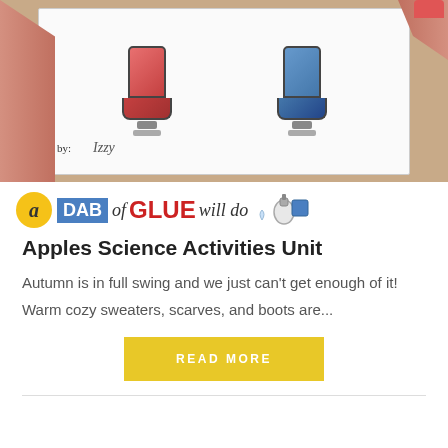[Figure (photo): Photo of hands holding a children's activity worksheet with illustrated boots and the name 'Izzy' written on it]
[Figure (logo): a DAB of GLUE will do — blog logo with yellow circle 'a', blue rectangle 'DAB', cursive 'of', red bold 'GLUE', cursive 'will do', and a glue bottle icon]
Apples Science Activities Unit
Autumn is in full swing and we just can't get enough of it! Warm cozy sweaters, scarves, and boots are...
READ MORE